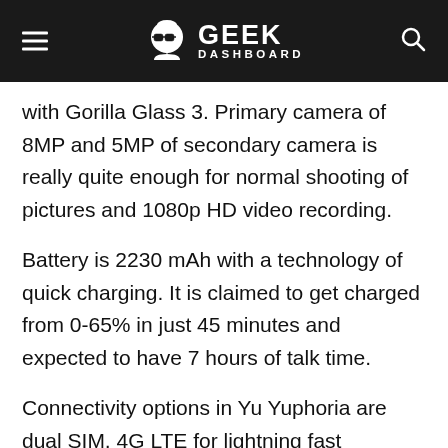GEEK DASHBOARD
with Gorilla Glass 3. Primary camera of 8MP and 5MP of secondary camera is really quite enough for normal shooting of pictures and 1080p HD video recording.
Battery is 2230 mAh with a technology of quick charging. It is claimed to get charged from 0-65% in just 45 minutes and expected to have 7 hours of talk time.
Connectivity options in Yu Yuphoria are dual SIM, 4G LTE for lightning fast browsing, Bluetooth, Wi-Fi, USB Ports and one 3.5mm audio jack.